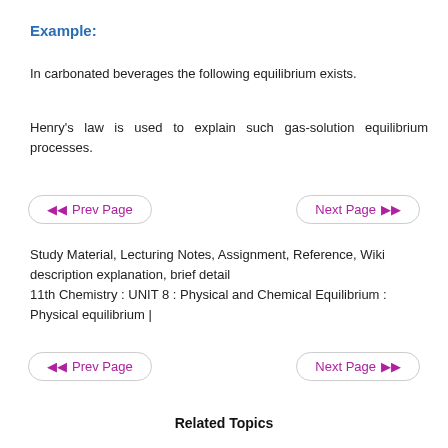Example:
In carbonated beverages the following equilibrium exists.
Henry's law is used to explain such gas-solution equilibrium processes.
◀◀ Prev Page    Next Page ▶▶
Study Material, Lecturing Notes, Assignment, Reference, Wiki description explanation, brief detail
11th Chemistry : UNIT 8 : Physical and Chemical Equilibrium : Physical equilibrium |
◀◀ Prev Page    Next Page ▶▶
Related Topics